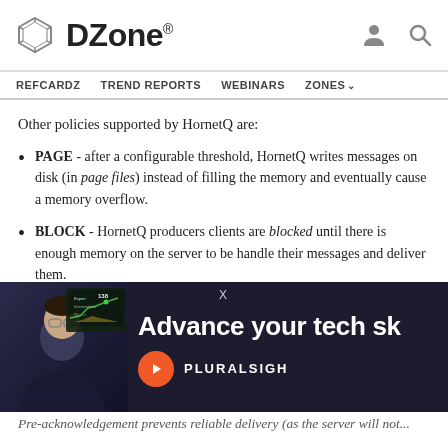DZone. [logo] [user icon] [search icon]
REFCARDZ   TREND REPORTS   WEBINARS   ZONES
Other policies supported by HornetQ are:
PAGE - after a configurable threshold, HornetQ writes messages on disk (in page files) instead of filling the memory and eventually cause a memory overflow.
BLOCK - HornetQ producers clients are blocked until there is enough memory on the server to be handle their messages and deliver them.
Pre-acknowledgement
Another optimization was to use pre-acknowledgement to increase performance. With pre-acknowledgement, the messaging server will acknowledge...
[Figure (screenshot): Advertisement overlay: Pluralsight ad showing a person with glasses in front of a dark background with text 'Advance your tech sh...' and Pluralsight logo with play button icon. An X close button is visible.]
Pre-acknowledgement prevents reliable delivery (as the server will not...